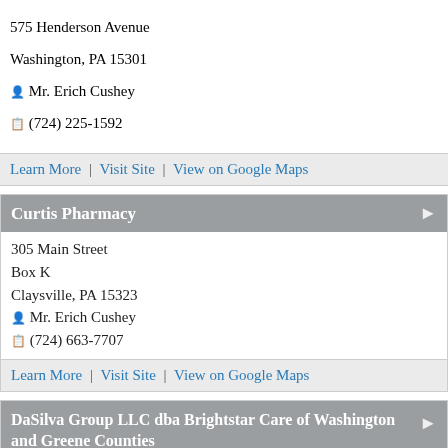575 Henderson Avenue
Washington, PA 15301
Mr. Erich Cushey
(724) 225-1592
Learn More | Visit Site | View on Google Maps
Curtis Pharmacy
305 Main Street
Box K
Claysville, PA 15323
Mr. Erich Cushey
(724) 663-7707
Learn More | Visit Site | View on Google Maps
DaSilva Group LLC dba Brightstar Care of Washington and Greene Counties
3244 Washington Road Suite 220